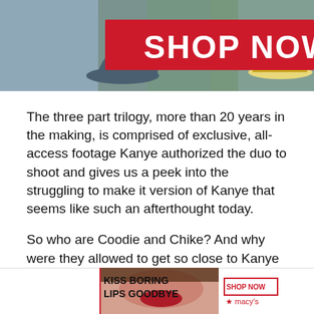[Figure (illustration): A 'SHOP NOW' promotional banner with a red bar showing white bold text 'SHOP NOW', hats and apparel visible in background]
The three part trilogy, more than 20 years in the making, is comprised of exclusive, all-access footage Kanye authorized the duo to shoot and gives us a peek into the struggling to make it version of Kanye that seems like such an afterthought today.
So who are Coodie and Chike? And why were they allowed to get so close to Kanye West and earn his trust?
For starters, they were staples in not just the
[Figure (illustration): Bottom advertisement for Macy's with text 'KISS BORING LIPS GOODBYE' and a woman's face with red lips, plus a 'SHOP NOW' button and Macy's star logo]